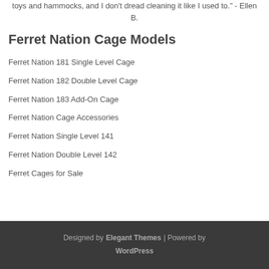toys and hammocks, and I don't dread cleaning it like I used to." - Ellen B.
Ferret Nation Cage Models
Ferret Nation 181 Single Level Cage
Ferret Nation 182 Double Level Cage
Ferret Nation 183 Add-On Cage
Ferret Nation Cage Accessories
Ferret Nation Single Level 141
Ferret Nation Double Level 142
Ferret Cages for Sale
Designed by Elegant Themes | Powered by WordPress